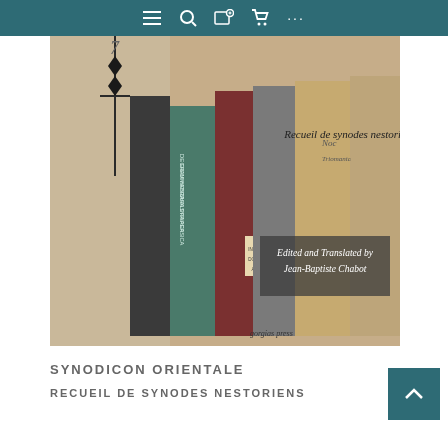Navigation bar with menu, search, bookshelf, cart, and more icons
[Figure (photo): Book cover showing a row of old leather-bound books on a shelf. Text on cover reads 'Recueil de synodes nestoriens' and 'Edited and Translated by Jean-Baptiste Chabot'. The spine of one book reads 'DE DIEU GRAMMATICA HEBRARA CHALDRA SYRIACA PERSICA'. Publisher name 'gorgias press' visible at bottom.]
SYNODICON ORIENTALE
RECUEIL DE SYNODES NESTORIENS